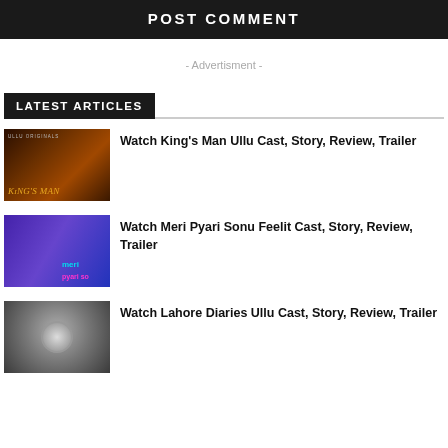POST COMMENT
- Advertisment -
LATEST ARTICLES
[Figure (photo): King's Man Ullu Originals promotional poster with figures in dark tones]
Watch King's Man Ullu Cast, Story, Review, Trailer
[Figure (photo): Meri Pyari Sonu Feelit promotional poster with woman and blue/purple background]
Watch Meri Pyari Sonu Feelit Cast, Story, Review, Trailer
[Figure (photo): Lahore Diaries Ullu promotional poster with dark grey circular image]
Watch Lahore Diaries Ullu Cast, Story, Review, Trailer